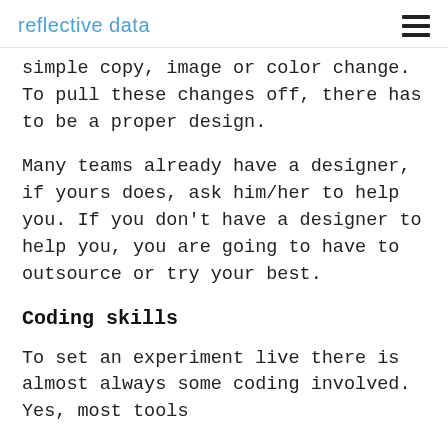reflective data
simple copy, image or color change. To pull these changes off, there has to be a proper design.
Many teams already have a designer, if yours does, ask him/her to help you. If you don’t have a designer to help you, you are going to have to outsource or try your best.
Coding skills
To set an experiment live there is almost always some coding involved. Yes, most tools